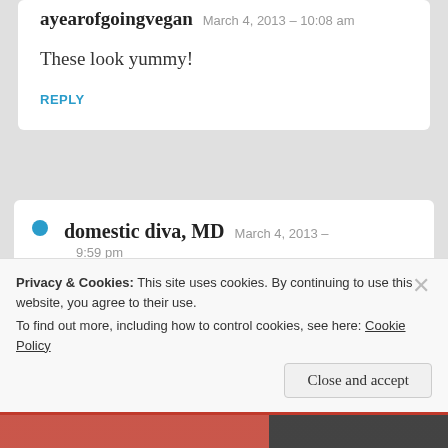ayearofgoingvegan  March 4, 2013 – 10:08 am
These look yummy!
REPLY
domestic diva, MD  March 4, 2013 – 9:59 pm
Thanks!!! 🙂
Privacy & Cookies: This site uses cookies. By continuing to use this website, you agree to their use.
To find out more, including how to control cookies, see here: Cookie Policy
Close and accept